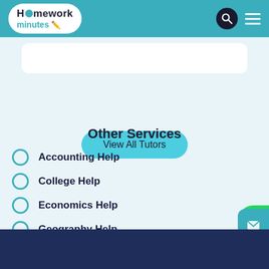Homework minutes
View All Tutors
Other Services
Accounting Help
College Help
Economics Help
Geography Help
Company